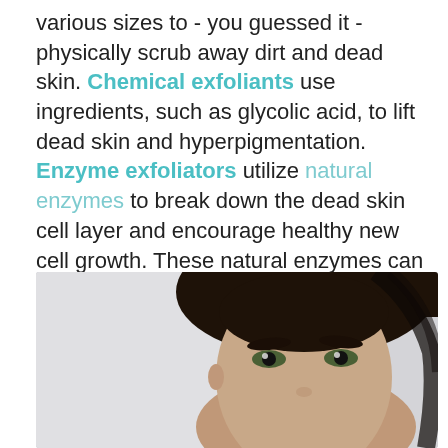various sizes to - you guessed it - physically scrub away dirt and dead skin. Chemical exfoliants use ingredients, such as glycolic acid, to lift dead skin and hyperpigmentation. Enzyme exfoliators utilize natural enzymes to break down the dead skin cell layer and encourage healthy new cell growth. These natural enzymes can be found in pineapple, papaya, and pumpkin. Coming soon: my rejuvenating pumpkin mask! Stay tuned!
[Figure (photo): Close-up photo of a young woman's face with dark hair, showing eyes and upper face against a light background.]